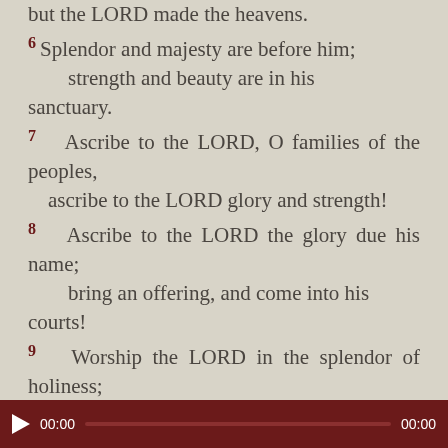but the LORD made the heavens.
6 Splendor and majesty are before him; strength and beauty are in his sanctuary.
7 Ascribe to the LORD, O families of the peoples, ascribe to the LORD glory and strength!
8 Ascribe to the LORD the glory due his name; bring an offering, and come into his courts!
9 Worship the LORD in the splendor of holiness; tremble before him, all the earth!
▶ 00:00  00:00